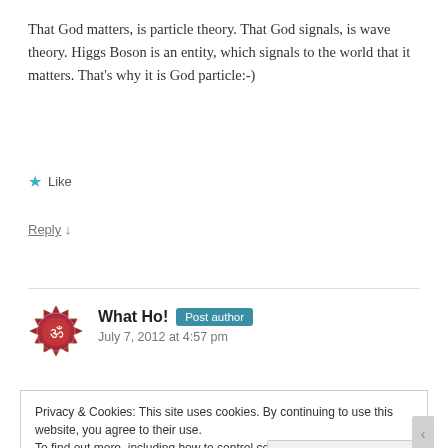That God matters, is particle theory. That God signals, is wave theory. Higgs Boson is an entity, which signals to the world that it matters. That's why it is God particle:-)
★ Like
Reply ↓
What Ho! Post author
July 7, 2012 at 4:57 pm
Privacy & Cookies: This site uses cookies. By continuing to use this website, you agree to their use.
To find out more, including how to control cookies, see here: Cookie Policy